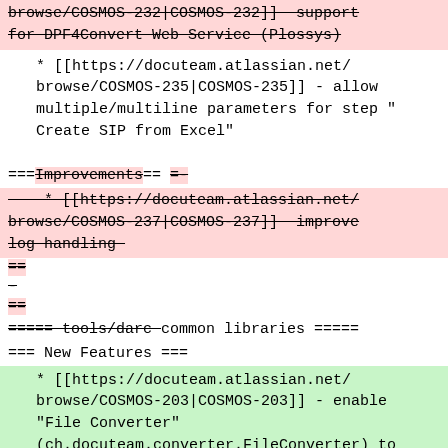browse/COSMOS-232|COSMOS-232]] - support for DPF4Convert Web Service (Plossys) [strikethrough]
* [[https://docuteam.atlassian.net/browse/COSMOS-235|COSMOS-235]] - allow multiple/multiline parameters for step "Create SIP from Excel"
===Improvements== =- [strikethrough portion]
* [[https://docuteam.atlassian.net/browse/COSMOS-237|COSMOS-237]] — improve log handling [strikethrough]
== [strikethrough]
- [strikethrough]
===== tools/darc common libraries =====
=== New Features ===
* [[https://docuteam.atlassian.net/browse/COSMOS-203|COSMOS-203]] - enable "File Converter" (ch.docuteam.converter.FileConverter) to be run from the command line
* [[https://docuteam.atlassian.net/browse/